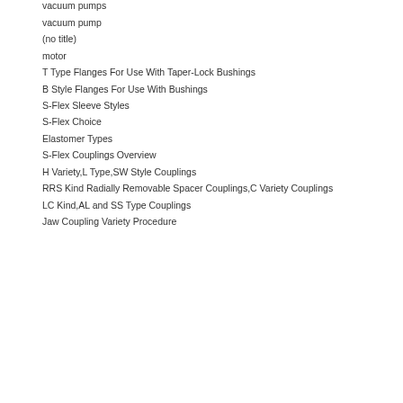vacuum pumps
vacuum pump
(no title)
motor
T Type Flanges For Use With Taper-Lock Bushings
B Style Flanges For Use With Bushings
S-Flex Sleeve Styles
S-Flex Choice
Elastomer Types
S-Flex Couplings Overview
H Variety,L Type,SW Style Couplings
RRS Kind Radially Removable Spacer Couplings,C Variety Couplings
LC Kind,AL and SS Type Couplings
Jaw Coupling Variety Procedure